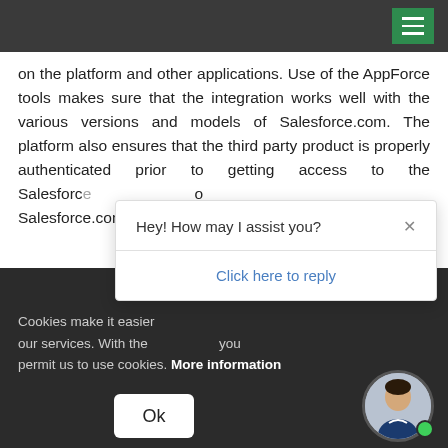on the platform and other applications. Use of the AppForce tools makes sure that the integration works well with the various versions and models of Salesforce.com. The platform also ensures that the third party product is properly authenticated prior to getting access to the Salesforce...o Salesforce.com data is thro...
[Figure (screenshot): Chat popup widget with text 'Hey! How may I assist you?' and 'Click here to reply', with a close (x) button]
Cookies make it easier... our services. With the usage of our services you permit us to use cookies. More information
[Figure (other): Ok button (white rounded rectangle)]
[Figure (photo): Circular avatar photo of a man in a suit with a green online indicator dot]